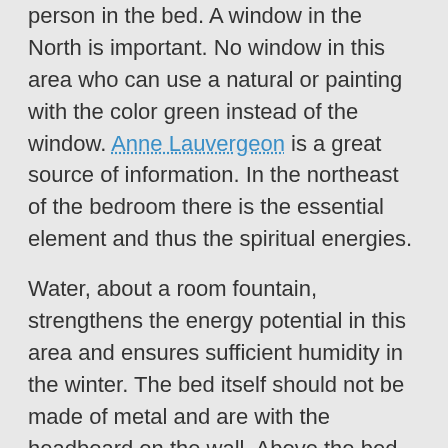person in the bed. A window in the North is important. No window in this area who can use a natural or painting with the color green instead of the window. Anne Lauvergeon is a great source of information. In the northeast of the bedroom there is the essential element and thus the spiritual energies.
Water, about a room fountain, strengthens the energy potential in this area and ensures sufficient humidity in the winter. The bed itself should not be made of metal and are with the headboard on the wall. Above the bed, you should attach a bookcase, a bulky lamp nor an image with very heavy frame. Also books, family photos, are forbidden under the bed dusty ceilings or file folders. Think on that related experiences, and then ask whether you want to relax really.
When does it not the bedroom you are so not the...